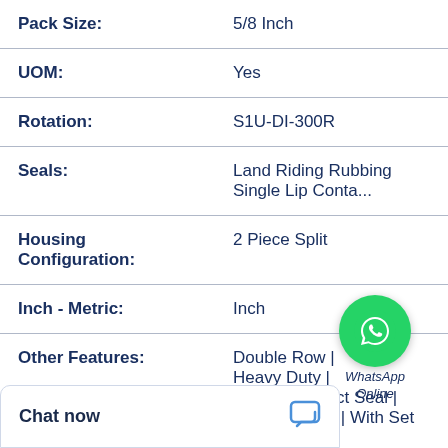| Property | Value |
| --- | --- |
| Pack Size: | 5/8 Inch |
| UOM: | Yes |
| Rotation: | S1U-DI-300R |
| Seals: | Land Riding Rubbing Single Lip Conta... |
| Housing Configuration: | 2 Piece Split |
| Inch - Metric: | Inch |
| Other Features: | Double Row | Heavy Duty | Optional E-Tect Seal | Double Collar | With Set Screw |
[Figure (logo): WhatsApp Online button overlay with green phone icon circle, italic text 'WhatsApp Online']
Chat now